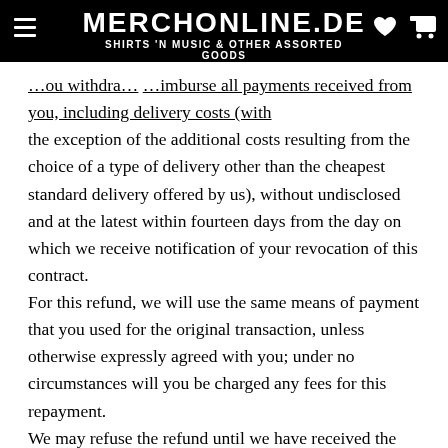MERCHONLINE.DE — SHIRTS 'N MUSIC & OTHER ASSORTED GOODS
…ou withdra… …imburse all payments received from you, including delivery costs (with the exception of the additional costs resulting from the choice of a type of delivery other than the cheapest standard delivery offered by us), without undisclosed and at the latest within fourteen days from the day on which we receive notification of your revocation of this contract. For this refund, we will use the same means of payment that you used for the original transaction, unless otherwise expressly agreed with you; under no circumstances will you be charged any fees for this repayment. We may refuse the refund until we have received the goods back or until you have provided proof that you have returned the goods, whichever is the earlier. You must return or hand over the goods to us immediately and in any case no later than fourteen days from the day on which you informed us of the revocation of this contract. The deadline is met if you send the goods before the expiry of…